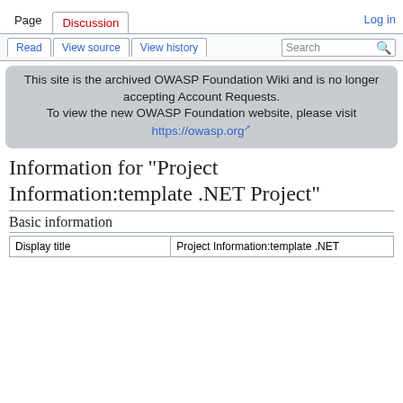Page  Discussion  Read  View source  View history  Search  Log in
This site is the archived OWASP Foundation Wiki and is no longer accepting Account Requests. To view the new OWASP Foundation website, please visit https://owasp.org
Information for "Project Information:template .NET Project"
Basic information
| Display title | Project Information:template .NET |
| --- | --- |